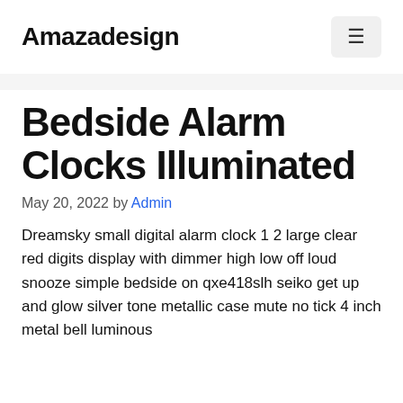Amazadesign
Bedside Alarm Clocks Illuminated
May 20, 2022 by Admin
Dreamsky small digital alarm clock 1 2 large clear red digits display with dimmer high low off loud snooze simple bedside on qxe418slh seiko get up and glow silver tone metallic case mute no tick 4 inch metal bell luminous